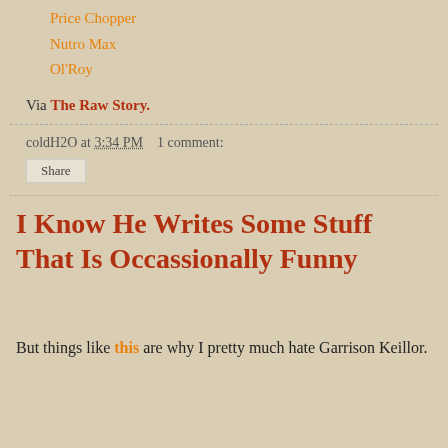Price Chopper
Nutro Max
Ol'Roy
Via The Raw Story.
coldH2O at 3:34 PM    1 comment:
Share
I Know He Writes Some Stuff That Is Occassionally Funny
But things like this are why I pretty much hate Garrison Keillor.